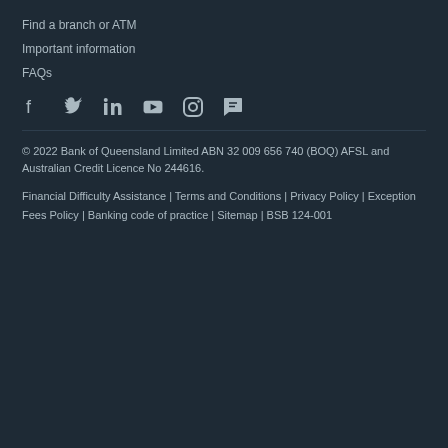Find a branch or ATM
Important information
FAQs
[Figure (infographic): Social media icons: Facebook, Twitter, LinkedIn, YouTube, Instagram, and a chat/review icon]
© 2022 Bank of Queensland Limited ABN 32 009 656 740 (BOQ) AFSL and Australian Credit Licence No 244616.
Financial Difficulty Assistance | Terms and Conditions | Privacy Policy | Exception Fees Policy | Banking code of practice | Sitemap | BSB 124-001